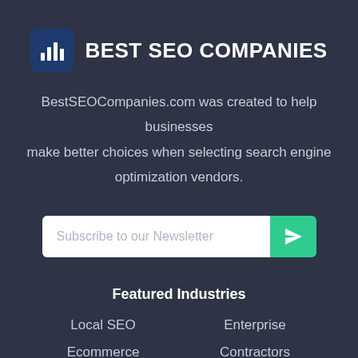BEST SEO COMPANIES
BestSEOCompanies.com was created to help businesses make better choices when selecting search engine optimization vendors.
[Figure (other): Email newsletter subscription input field with placeholder text 'Subscribe to our Newsletter' and a green send button with paper plane icon]
Featured Industries
Local SEO
Enterprise
Ecommerce
Contractors